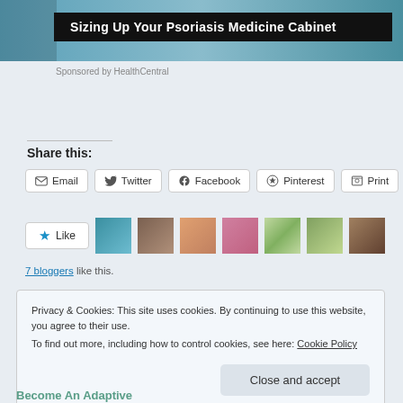[Figure (screenshot): Top image strip with banner overlay reading 'Sizing Up Your Psoriasis Medicine Cabinet']
Sponsored by HealthCentral
Share this:
Email | Twitter | Facebook | Pinterest | Print (social share buttons)
[Figure (screenshot): Like button with star icon and 7 blogger avatar thumbnails]
7 bloggers like this.
Privacy & Cookies: This site uses cookies. By continuing to use this website, you agree to their use.
To find out more, including how to control cookies, see here: Cookie Policy
Close and accept
Become An Adaptive